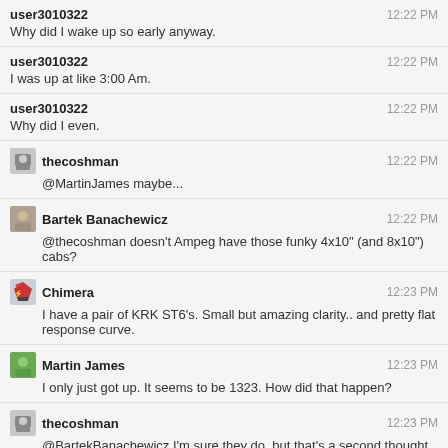user3010322 12:22 PM
Why did I wake up so early anyway.
user3010322 12:22 PM
I was up at like 3:00 Am.
user3010322 12:22 PM
Why did I even.
thecoshman 12:22 PM
@MartinJames maybe...
Bartek Banachewicz 12:22 PM
@thecoshman doesn't Ampeg have those funky 4x10" (and 8x10") cabs?
Chimera 12:23 PM
I have a pair of KRK ST6's. Small but amazing clarity.. and pretty flat response curve.
Martin James 12:23 PM
I only just got up. It seems to be 1323. How did that happen?
thecoshman 12:23 PM
@BartekBanachewicz I'm sure they do, but that's a second thought
Bartek Banachewicz 12:23 PM
@Chimera they are passive, though? what do you use to amp them?
Chimera 12:23 PM